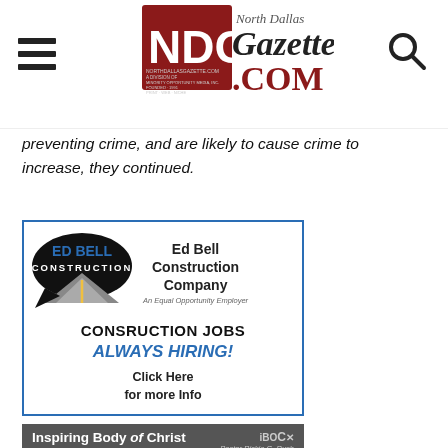North Dallas Gazette NDG northdallasgazette.com
preventing crime, and are likely to cause crime to increase, they continued.
[Figure (illustration): Ed Bell Construction Company advertisement. Shows Ed Bell Construction logo with a road image, text: Ed Bell Construction Company, An Equal Opportunity Employer, CONSRUCTION JOBS, ALWAYS HIRING!, Click Here for more Info]
[Figure (illustration): Inspiring Body of Christ advertisement. Shows IBOC logo, Pastor Rickie G. Rush, phone number 972.572.4262 (IBOC)]